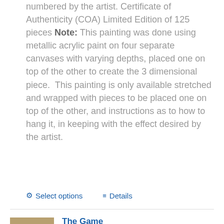numbered by the artist. Certificate of Authenticity (COA) Limited Edition of 125 pieces Note: This painting was done using metallic acrylic paint on four separate canvases with varying depths, placed one on top of the other to create the 3 dimensional piece. This painting is only available stretched and wrapped with pieces to be placed one on top of the other, and instructions as to how to hang it, in keeping with the effect desired by the artist.
Select options | Details
[Figure (photo): Thumbnail image of artwork showing sculptural faces]
The Game
$1,000.00